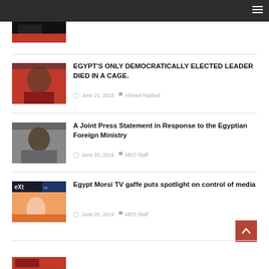Navigation bar
[Figure (photo): Partial thumbnail image at top, cropped]
EGYPT'S ONLY DEMOCRATICALLY ELECTED LEADER DIED IN A CAGE.
June 21, 2019  Ahmed Rashed
A Joint Press Statement in Response to the Egyptian Foreign Ministry
June 20, 2019  MEO Staff
Egypt Morsi TV gaffe puts spotlight on control of media
June 20, 2019  MEO Staff
[Figure (photo): Partial thumbnail at bottom, red/orange broadcast image]